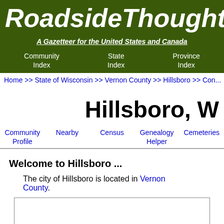RoadsideThoughts
A Gazetteer for the United States and Canada
Community Index   State Index   Province Index
Home >> State of Wisconsin >> Vernon County >> Hillsboro >> Con...
Hillsboro, W...
Community Profile   Nearby   Census   Genealogy Helper   Cemeteries
Welcome to Hillsboro ...
The city of Hillsboro is located in Vernon County.